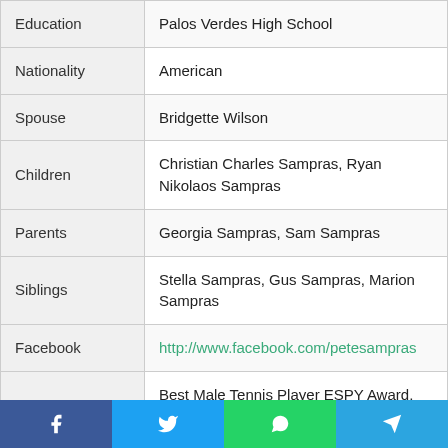| Field | Value |
| --- | --- |
| Education | Palos Verdes High School |
| Nationality | American |
| Spouse | Bridgette Wilson |
| Children | Christian Charles Sampras, Ryan Nikolaos Sampras |
| Parents | Georgia Sampras, Sam Sampras |
| Siblings | Stella Sampras, Gus Sampras, Marion Sampras |
| Facebook | http://www.facebook.com/petesampras |
| Awards | Best Male Tennis Player ESPY Award, Best Record-Breaking Performance ESPY Award, Best Moment ESPY |